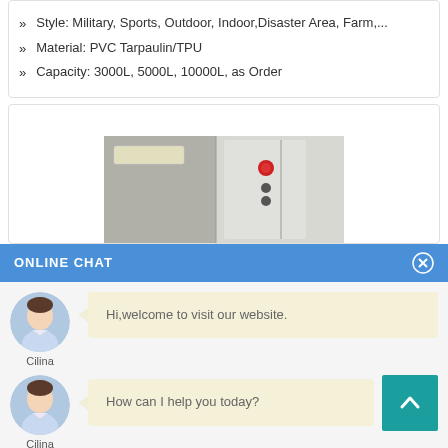Style: Military, Sports, Outdoor, Indoor, Disaster Area, Farm,...
Material: PVC Tarpaulin/TPU
Capacity: 3000L, 5000L, 10000L, as Order
[Figure (photo): Product photo showing cylindrical metal tank/water heater unit in an indoor setting with ceiling lights visible]
ONLINE CHAT
Hi,welcome to visit our website.
Cilina
How can I help you today?
Cilina